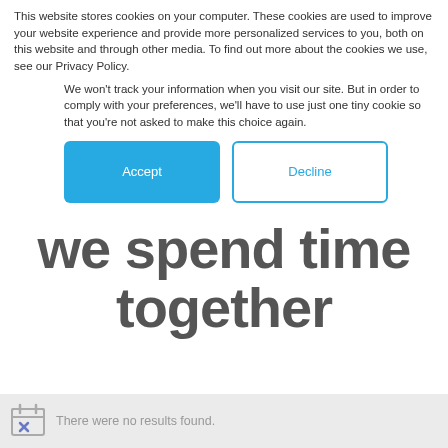This website stores cookies on your computer. These cookies are used to improve your website experience and provide more personalized services to you, both on this website and through other media. To find out more about the cookies we use, see our Privacy Policy.
We won't track your information when you visit our site. But in order to comply with your preferences, we'll have to use just one tiny cookie so that you're not asked to make this choice again.
Accept
Decline
we spend time together
There were no results found.